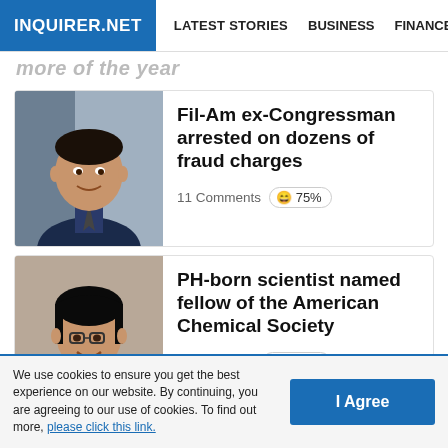INQUIRER.NET | LATEST STORIES | BUSINESS | FINANCE | TECHNOLO...
Fil-Am ex-Congressman arrested on dozens of fraud charges
11 Comments 😄 75%
PH-born scientist named fellow of the American Chemical Society
8 Comments 😄 100%
We use cookies to ensure you get the best experience on our website. By continuing, you are agreeing to our use of cookies. To find out more, please click this link.